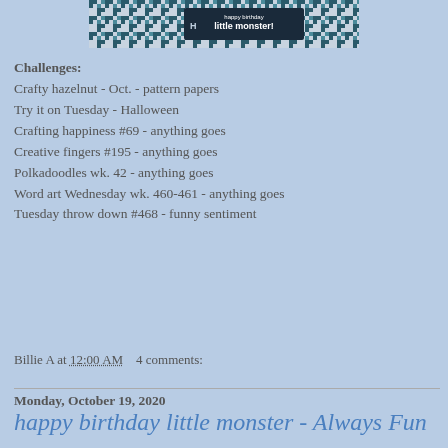[Figure (photo): A decorative card or tag with houndstooth pattern and text reading 'happy birthday little monster!']
Challenges:
Crafty hazelnut - Oct. - pattern papers
Try it on Tuesday - Halloween
Crafting happiness #69 - anything goes
Creative fingers #195 - anything goes
Polkadoodles wk. 42 - anything goes
Word art Wednesday wk. 460-461 - anything goes
Tuesday throw down #468 - funny sentiment
Billie A at 12:00 AM    4 comments:
Monday, October 19, 2020
happy birthday little monster - Always Fun